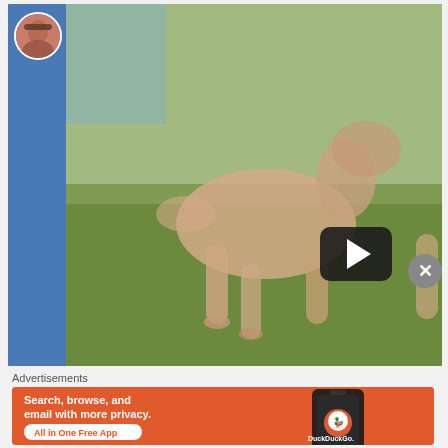[Figure (screenshot): YouTube video thumbnail showing 'Needle Felted Dog Armature [The Process]' with a blurry dog figure on grass, a play button overlay, and a channel avatar on the left blue bar]
Advertisements
[Figure (screenshot): DuckDuckGo advertisement banner with orange background. Text: 'Search, browse, and email with more privacy. All in One Free App' with DuckDuckGo logo and phone image]